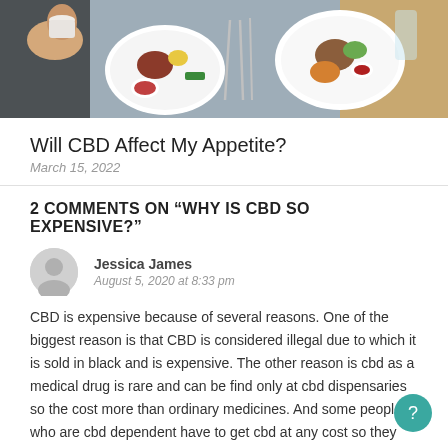[Figure (photo): Overhead view of a table with food plates, cutlery, and a hand holding a cup]
Will CBD Affect My Appetite?
March 15, 2022
2 COMMENTS ON “WHY IS CBD SO EXPENSIVE?”
Jessica James
August 5, 2020 at 8:33 pm
CBD is expensive because of several reasons. One of the biggest reason is that CBD is considered illegal due to which it is sold in black and is expensive. The other reason is cbd as a medical drug is rare and can be find only at cbd dispensaries so the cost more than ordinary medicines. And some people who are cbd dependent have to get cbd at any cost so they pay whatever it costs for their treatment.